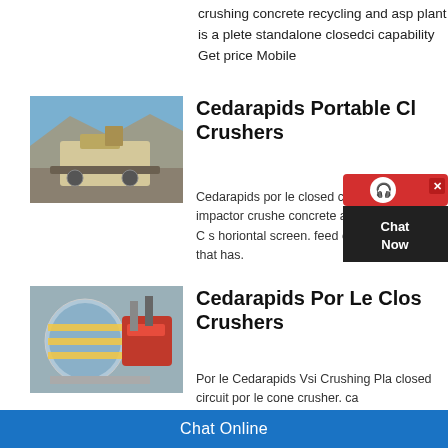crushing concrete recycling and asp plant is a plete standalone closedcircuit capability Get price Mobile
[Figure (photo): Outdoor photo of a portable crusher machine at a quarry or demolition site with rocky terrain and blue sky in background]
Cedarapids Portable Closed Circuit Crushers
Cedarapids por le closed circuit o closed circuit impactor crusher concrete and more. 15 x 36 C s horiontal screen. feed opening 47 x plant that has.
[Figure (photo): Industrial photo of large cylindrical crushing or processing equipment with blue and red machinery components and piping]
Cedarapids Por Le Closed Circuit Crushers
Por le Cedarapids Vsi Crushing Pla closed circuit por le cone crusher. ca
Chat Online